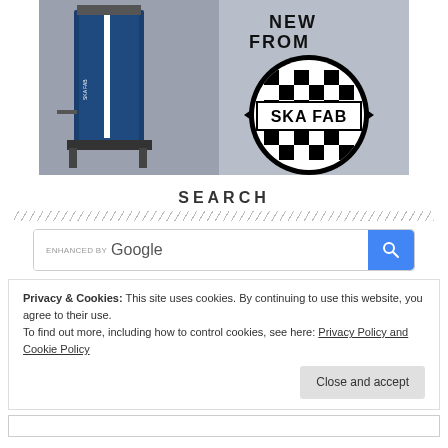[Figure (photo): Banner image showing a blue industrial machine (SKA FAB) on the left and the SKA FAB checkered flag logo on the right with 'NEW FROM' text above the logo]
SEARCH
[Figure (screenshot): Google enhanced search bar with magnifying glass button]
Privacy & Cookies: This site uses cookies. By continuing to use this website, you agree to their use.
To find out more, including how to control cookies, see here: Privacy Policy and Cookie Policy
Close and accept